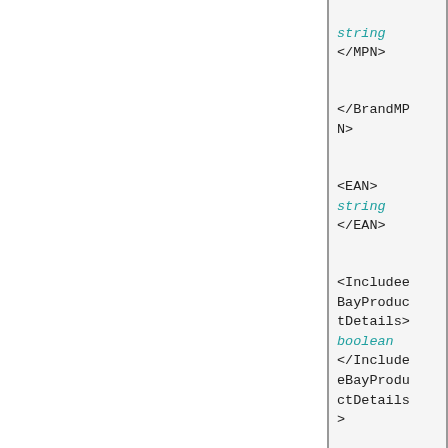string
</MPN>

</BrandMPN>

<EAN>
string
</EAN>

<IncludeeBayProductDetails>
boolean
</IncludeeBayProductDetails>

<IncludeStockPhotoURL>
boolean